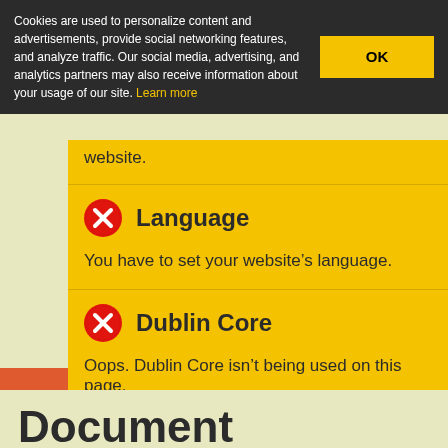Cookies are used to personalize content and advertisements, provide social networking features, and analyze traffic. Our social media, advertising, and analytics partners may also receive information about your usage of our site. Learn more
website.
Language
You have to set your website’s language.
Dublin Core
Oops. Dublin Core isn’t being used on this page.
Document